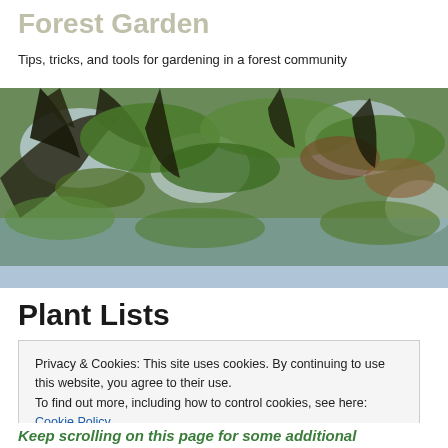Forest Garden
Tips, tricks, and tools for gardening in a forest community
[Figure (photo): Looking up through leafy forest tree canopy with branches and green and autumn-tinged leaves against a bright sky]
Plant Lists
Privacy & Cookies: This site uses cookies. By continuing to use this website, you agree to their use.
To find out more, including how to control cookies, see here: Cookie Policy
Close and accept
Keep scrolling on this page for some additional